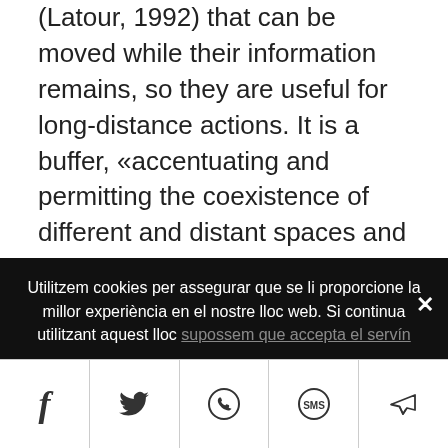(Latour, 1992) that can be moved while their information remains, so they are useful for long-distance actions. It is a buffer, «accentuating and permitting the coexistence of different and distant spaces and groups» (Lasén Díaz, 2006:158). Young people are more accustomed to audio-visual media than purely written text or verbal and abstract material (Lisón Arcal, 1999), and are experts in the use of both the mobile phone camera and the
Utilitzem cookies per assegurar que se li proporcione la millor experiència en el nostre lloc web. Si continua utilitzant aquest lloc supossem que accepta el servín